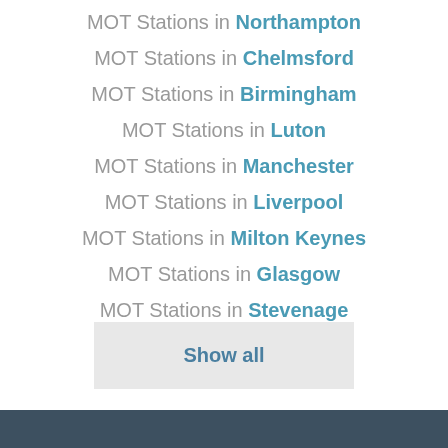MOT Stations in Northampton
MOT Stations in Chelmsford
MOT Stations in Birmingham
MOT Stations in Luton
MOT Stations in Manchester
MOT Stations in Liverpool
MOT Stations in Milton Keynes
MOT Stations in Glasgow
MOT Stations in Stevenage
Show all